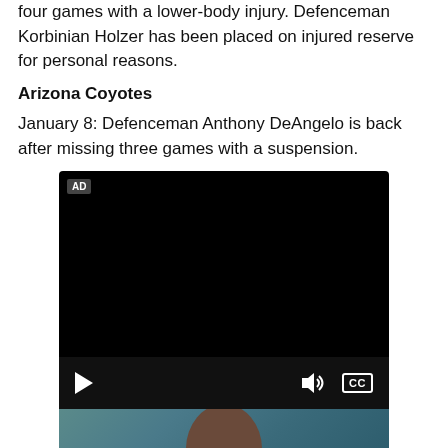four games with a lower-body injury. Defenceman Korbinian Holzer has been placed on injured reserve for personal reasons.
Arizona Coyotes
January 8: Defenceman Anthony DeAngelo is back after missing three games with a suspension.
[Figure (screenshot): Video player with black screen showing AD badge, play button, volume icon, and CC (closed captions) button in controls bar, with a partial photo of a person's face below]